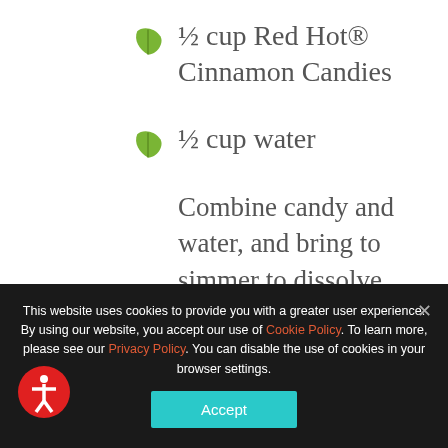½ cup Red Hot® Cinnamon Candies
½ cup water
Combine candy and water, and bring to simmer to dissolve, and reduce by half. Add syrup to coffee, combine with heavy cream and enjoy
This website uses cookies to provide you with a greater user experience. By using our website, you accept our use of Cookie Policy. To learn more, please see our Privacy Policy. You can disable the use of cookies in your browser settings.